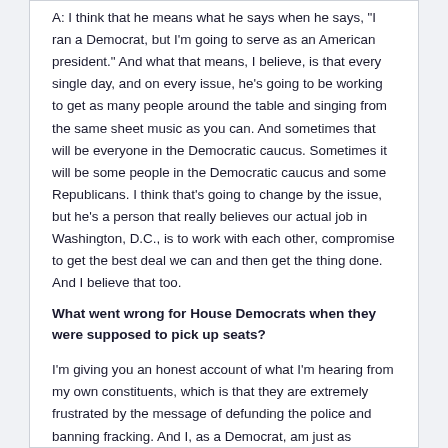A: I think that he means what he says when he says, "I ran a Democrat, but I'm going to serve as an American president." And what that means, I believe, is that every single day, and on every issue, he's going to be working to get as many people around the table and singing from the same sheet music as you can. And sometimes that will be everyone in the Democratic caucus. Sometimes it will be some people in the Democratic caucus and some Republicans. I think that's going to change by the issue, but he's a person that really believes our actual job in Washington, D.C., is to work with each other, compromise to get the best deal we can and then get the thing done. And I believe that too.
What went wrong for House Democrats when they were supposed to pick up seats?
I'm giving you an honest account of what I'm hearing from my own constituents, which is that they are extremely frustrated by the message of defunding the police and banning fracking. And I, as a Democrat, am just as frustrated. Because those things aren't just unpopular, they're completely unrealistic, and they aren't going to happen. And they amount to false promises by the people that call for them.
If someone in your family makes their living in some way connected to natural gas, whether on the pipeline itself, or you know, even in a restaurant that serves natural gas workers, this isn't something to joke